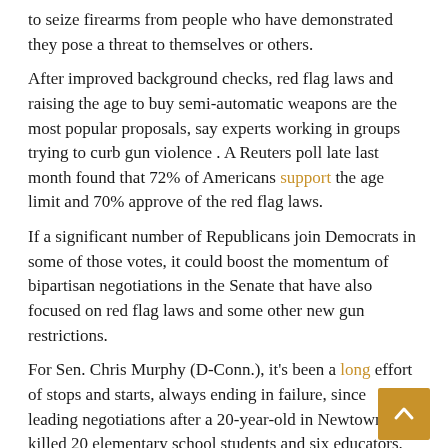to seize firearms from people who have demonstrated they pose a threat to themselves or others.
After improved background checks, red flag laws and raising the age to buy semi-automatic weapons are the most popular proposals, say experts working in groups trying to curb gun violence . A Reuters poll late last month found that 72% of Americans support the age limit and 70% approve of the red flag laws.
If a significant number of Republicans join Democrats in some of those votes, it could boost the momentum of bipartisan negotiations in the Senate that have also focused on red flag laws and some other new gun restrictions.
For Sen. Chris Murphy (D-Conn.), it's been a long effort of stops and starts, always ending in failure, since leading negotiations after a 20-year-old in Newtown killed 20 elementary school students and six educators. with a legally purchased assault weapon.
“I failed a lot in these negotiations. But these talks feel different, because I think members on both sides realize there is